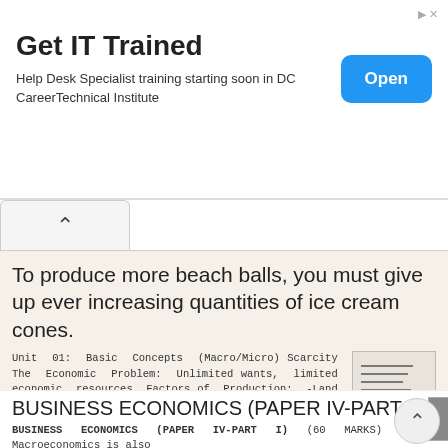[Figure (infographic): Advertisement banner: 'Get IT Trained' with 'Help Desk Specialist training starting soon in DC CareerTechnical Institute' and blue 'Open' button]
To produce more beach balls, you must give up ever increasing quantities of ice cream cones.
Unit 01: Basic Concepts (Macro/Micro) Scarcity The Economic Problem: Unlimited wants, limited economic resources Factors of Production: -Land -Labor -Capital -Entrepreneurship Big 3 Questions: -What to
More information →
BUSINESS ECONOMICS (PAPER IV-PART I)
BUSINESS ECONOMICS (PAPER IV-PART I) (60 MARKS) Q1: Macroeconomics is also